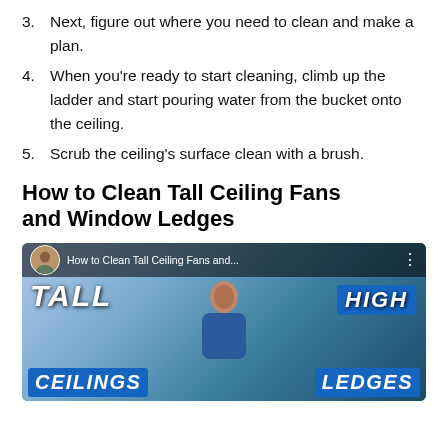3. Next, figure out where you need to clean and make a plan.
4. When you're ready to start cleaning, climb up the ladder and start pouring water from the bucket onto the ceiling.
5. Scrub the ceiling's surface clean with a brush.
How to Clean Tall Ceiling Fans and Window Ledges
[Figure (screenshot): YouTube video thumbnail for 'How to Clean Tall Ceiling Fans and...' showing a woman and bold text: TALL CEILINGS on the left and HIGH LEDGES on the right, with a YouTube-style top bar.]